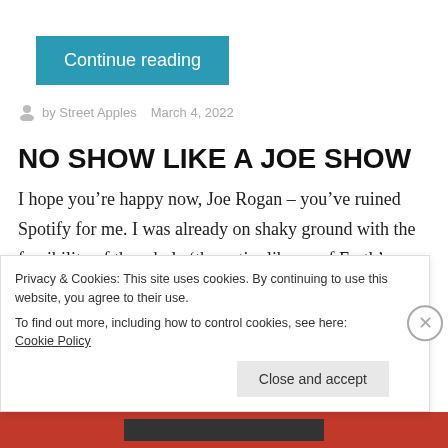[Figure (other): Continue reading button — teal/blue rectangular button with white text]
by Street Apples   March 4, 2022
NO SHOW LIKE A JOE SHOW
I hope you’re happy now, Joe Rogan – you’ve ruined Spotify for me. I was already on shaky ground with the feasibility of the whole ‘the entire library of Earth’s recorded music for a tenner a month’ thing, but Egad if
Privacy & Cookies: This site uses cookies. By continuing to use this website, you agree to their use.
To find out more, including how to control cookies, see here: Cookie Policy
Close and accept